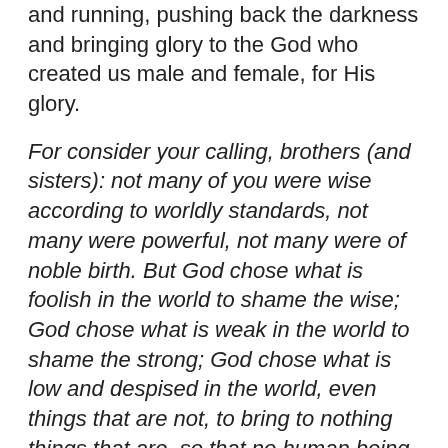and running, pushing back the darkness and bringing glory to the God who created us male and female, for His glory.
For consider your calling, brothers (and sisters): not many of you were wise according to worldly standards, not many were powerful, not many were of noble birth. But God chose what is foolish in the world to shame the wise; God chose what is weak in the world to shame the strong; God chose what is low and despised in the world, even things that are not, to bring to nothing things that are, so that no human being might boast in the presence of God. And because of him you are in Christ Jesus, who became to us wisdom from God,righteousness and sanctification and redemption, so that, as it is written, “Let the one who boasts, boast in the Lord.” I Cor 1:26 – 31.